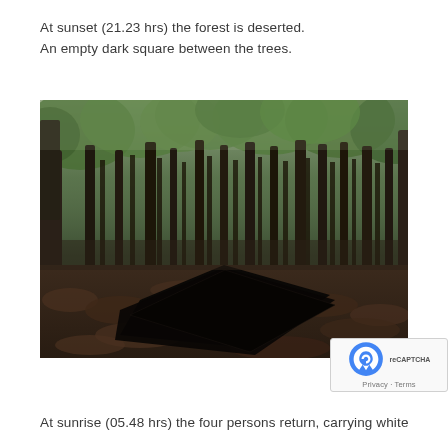At sunset (21.23 hrs) the forest is deserted.
An empty dark square between the trees.
[Figure (photo): A forest scene at dusk showing tall thin trees with green foliage. In the foreground, a large black square shape is placed on the ground amid brown fallen leaves, creating a stark geometric contrast with the natural environment.]
At sunrise (05.48 hrs) the four persons return, carrying white